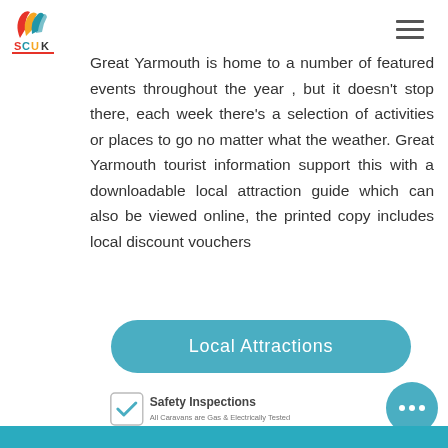[Figure (logo): SCUK logo with stylized bird/wing in red, yellow, blue and a red underline, with text SCUK]
Great Yarmouth is home to a number of featured events throughout the year , but it doesn't stop there, each week there's a selection of activities or places to go no matter what the weather. Great Yarmouth tourist information support this with a downloadable local attraction guide which can also be viewed online, the printed copy includes local discount vouchers
Local Attractions
[Figure (logo): Safety Inspections badge with checkmark icon and text: Safety Inspections, All Caravans are Gas & Electrically Tested]
...